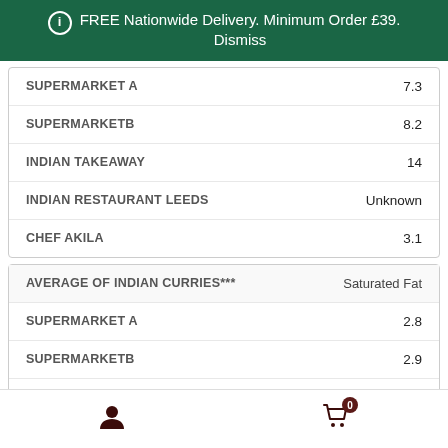FREE Nationwide Delivery. Minimum Order £39. Dismiss
|  |  |
| --- | --- |
| SUPERMARKET A | 7.3 |
| SUPERMARKETB | 8.2 |
| INDIAN TAKEAWAY | 14 |
| INDIAN RESTAURANT LEEDS | Unknown |
| CHEF AKILA | 3.1 |
| AVERAGE OF INDIAN CURRIES*** | Saturated Fat |
| --- | --- |
| SUPERMARKET A | 2.8 |
| SUPERMARKETB | 2.9 |
| INDIAN TAKEAWAY | 7 |
| INDIAN RESTAURANT LEEDS | Unknown |
| CHEF AKILA | 0.8 |